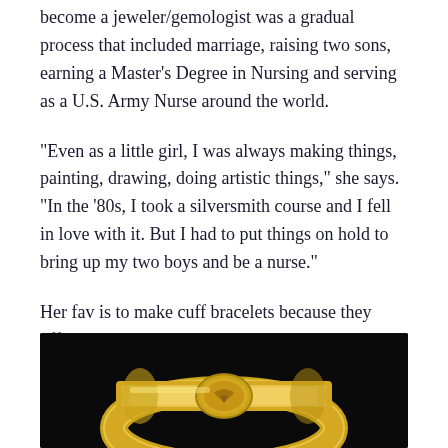become a jeweler/gemologist was a gradual process that included marriage, raising two sons, earning a Master's Degree in Nursing and serving as a U.S. Army Nurse around the world.
“Even as a little girl, I was always making things, painting, drawing, doing artistic things,” she says. “In the ‘80s, I took a silversmith course and I fell in love with it. But I had to put things on hold to bring up my two boys and be a nurse.”
Her fav is to make cuff bracelets because they offer a large canvas to add engraving and stones. Even though they’re not for everyone, there is a trend for women to go for the big bracelets.
[Figure (photo): A gold cuff bracelet with an engraved coin or medallion design, photographed against a black background.]